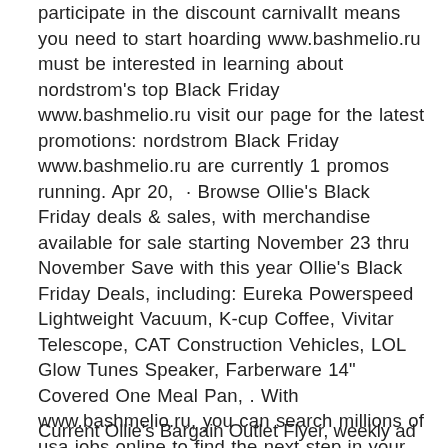participate in the discount carnivalIt means you need to start hoarding www.bashmelio.ru must be interested in learning about nordstrom's top Black Friday www.bashmelio.ru visit our page for the latest promotions: nordstrom Black Friday www.bashmelio.ru are currently 1 promos running. Apr 20,  · Browse Ollie's Black Friday deals & sales, with merchandise available for sale starting November 23 thru November Save with this year Ollie's Black Friday Deals, including: Eureka Powerspeed Lightweight Vacuum, K-cup Coffee, Vivitar Telescope, CAT Construction Vehicles, LOL Glow Tunes Speaker, Farberware 14" Covered One Meal Pan, . With www.bashmelio.ru, you can search millions of usa jobs online to find the next step in your career. With tools for job search, resumes, company reviews and more, we're with you every step of .
Current Ollie's Bargain Outlet Flyer, weekly ad circular